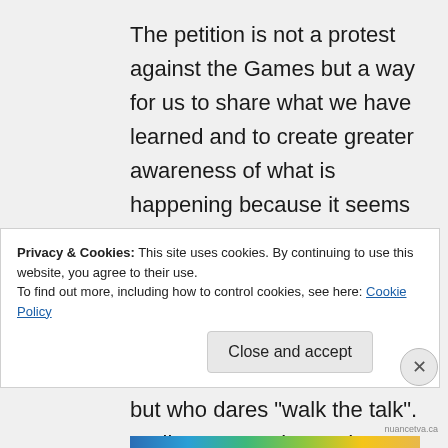The petition is not a protest against the Games but a way for us to share what we have learned and to create greater awareness of what is happening because it seems to be happening all across Niagara, and beyond. And yes, everyone talks about the environment being the most important issue of our time, but who dares "walk the talk". Well, we are trying to do so right now, and
Privacy & Cookies: This site uses cookies. By continuing to use this website, you agree to their use.
To find out more, including how to control cookies, see here: Cookie Policy
Close and accept